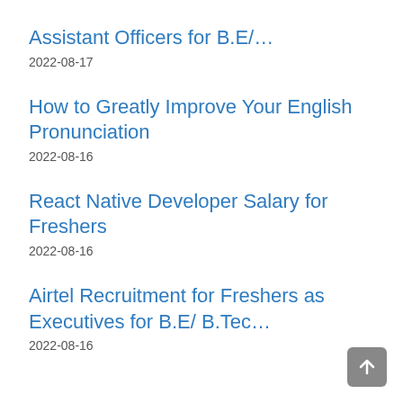Assistant Officers for B.E/…
2022-08-17
How to Greatly Improve Your English Pronunciation
2022-08-16
React Native Developer Salary for Freshers
2022-08-16
Airtel Recruitment for Freshers as Executives for B.E/ B.Tec…
2022-08-16